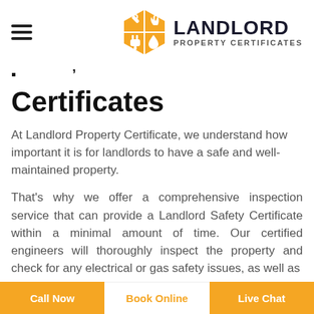LANDLORD PROPERTY CERTIFICATES
Certificates
At Landlord Property Certificate, we understand how important it is for landlords to have a safe and well-maintained property.
That's why we offer a comprehensive inspection service that can provide a Landlord Safety Certificate within a minimal amount of time. Our certified engineers will thoroughly inspect the property and check for any electrical or gas safety issues, as well as
Call Now | Book Online | Live Chat